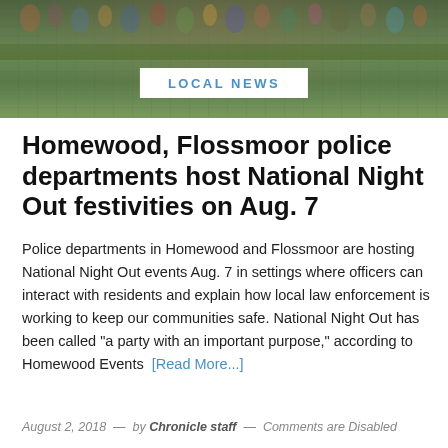[Figure (photo): Outdoor photo of a crowd of people, likely children and adults, gathered on a grassy field, viewed from a distance. A white banner overlay with 'LOCAL NEWS' text appears in the center of the image.]
Homewood, Flossmoor police departments host National Night Out festivities on Aug. 7
Police departments in Homewood and Flossmoor are hosting National Night Out events Aug. 7 in settings where officers can interact with residents and explain how local law enforcement is working to keep our communities safe. National Night Out has been called "a party with an important purpose," according to Homewood Events [Read More...]
August 2, 2018  —  by Chronicle staff  —  Comments are Disabled